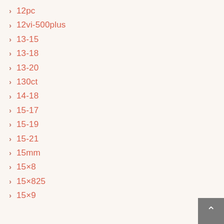12pc
12vi-500plus
13-15
13-18
13-20
130ct
14-18
15-17
15-19
15-21
15mm
15×8
15×825
15×9